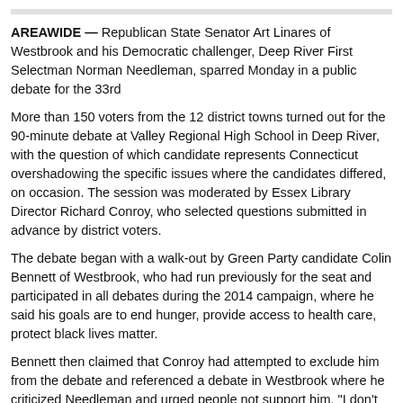AREAWIDE — Republican State Senator Art Linares of Westbrook and his Democratic challenger, Deep River First Selectman Norman Needleman, sparred Monday in a public debate for the 33rd...
More than 150 voters from the 12 district towns turned out for the 90-minute debate at Valley Regional High School in Deep River, with the question of which candidate represents Connecticut overshadowing the specific issues where the candidates differed, on occasion. The session was moderated by Essex Library Director Richard Conroy, who selected questions submitted in advance by district voters.
The debate began with a walk-out by Green Party candidate Colin Bennett of We... previously for the seat and participated in all debates during the 2014 campaign, where he said his goals are to end hunger, provide access to health care, protect... black lives matter.
Bennett then claimed that Conroy had attempted to exclude him from the debate... debate in Westbrook where he criticized Needleman and urged people not suppo... don't want to be where I am not wanted," Bennett said before walking off the stag... Conroy he would not participate in the debate if Bennett was arbitrarily excluded...
The term political class entered the discussion soon after the opening statement... three-term first selectman said he had been urged to run the seat this year by the... because they wanted a candidate with experience in business and municipal gov... party leaders he would not be a rubber stamp, and could become their "worst nig...